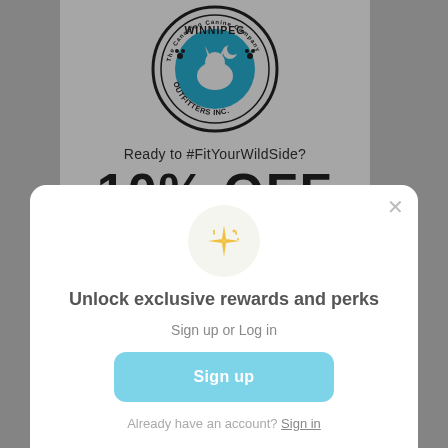[Figure (logo): Winnipeg Outfitters Inc. circular logo with a howling wolf silhouette on blue background, paw prints, text reading 'The Canadian Canine Company', 'WINNIPEG OUTFITTERS INC.']
Ready to #FitYourWildSide?
10% OFF
[Figure (illustration): Golden sparkle/star icon inside a light grey circle]
Unlock exclusive rewards and perks
Sign up or Log in
Sign up
Already have an account? Sign in